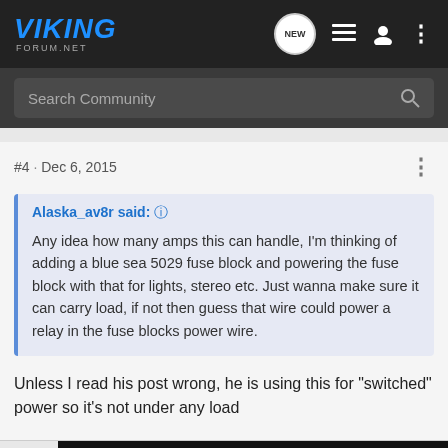VIKING FORUM.NET
Search Community
#4 · Dec 6, 2015
Alaska_av8r said: Any idea how many amps this can handle, I'm thinking of adding a blue sea 5029 fuse block and powering the fuse block with that for lights, stereo etc. Just wanna make sure it can carry load, if not then guess that wire could power a relay in the fuse blocks power wire.
Unless I read his post wrong, he is using this for "switched" power so it's not under any load
[Figure (screenshot): Wolverine RMAX4 1000 XTR Edition Yamaha advertisement banner]